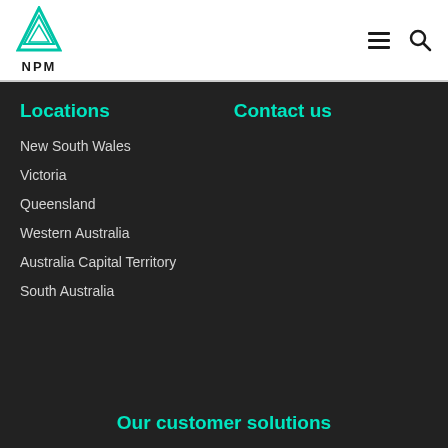[Figure (logo): NPM logo with teal triangle/mountain icon above the text NPM]
NPM website header with logo, hamburger menu icon, and search icon
Locations
Contact us
New South Wales
Victoria
Queensland
Western Australia
Australia Capital Territory
South Australia
Our customer solutions